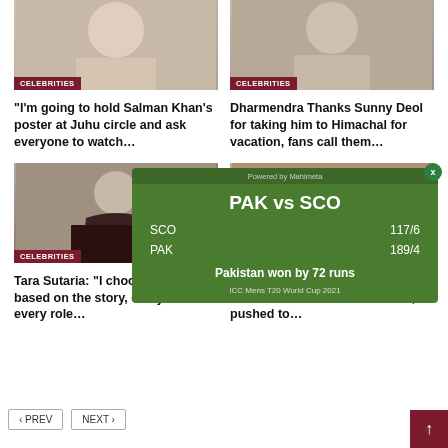[Figure (photo): Top left partial photo with CELEBRITIES badge]
[Figure (photo): Top right partial photo with CELEBRITIES badge]
“I’m going to hold Salman Khan’s poster at Juhu circle and ask everyone to watch…
Dharmendra Thanks Sunny Deol for taking him to Himachal for vacation, fans call them…
[Figure (photo): Bottom left photo of woman (Tara Sutaria) with CELEBRITIES badge]
[Figure (photo): Bottom right partial photo with CELE... badge (partially hidden by cricket widget)]
Tara Sutaria: “I choose a project based on the story, every film and every role…
Laal Singh Chaddha, Aamir starrer Gets New Release Date; pushed to…
[Figure (infographic): Cricket score widget: PAK vs SCO, SCO 117/6, PAK 189/4, Pakistan won by 72 runs, ICC Mens T20 World Cup 2021, Powered by Mahimeta]
< PREV
NEXT >